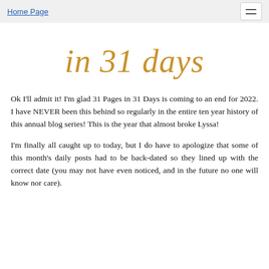Home Page
in 31 days
Ok I'll admit it! I'm glad 31 Pages in 31 Days is coming to an end for 2022. I have NEVER been this behind so regularly in the entire ten year history of this annual blog series! This is the year that almost broke Lyssa!
I'm finally all caught up to today, but I do have to apologize that some of this month's daily posts had to be back-dated so they lined up with the correct date (you may not have even noticed, and in the future no one will know nor care).